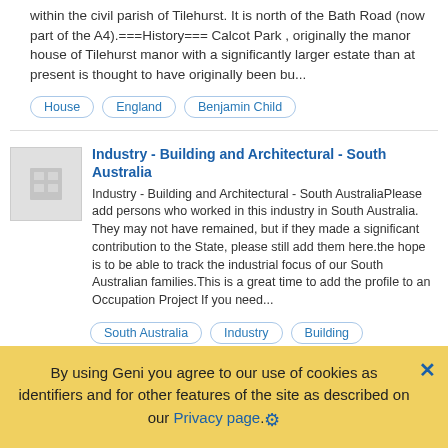within the civil parish of Tilehurst. It is north of the Bath Road (now part of the A4).===History=== Calcot Park , originally the manor house of Tilehurst manor with a significantly larger estate than at present is thought to have originally been bu...
House
England
Benjamin Child
Industry - Building and Architectural - South Australia
Industry - Building and Architectural - South AustraliaPlease add persons who worked in this industry in South Australia. They may not have remained, but if they made a significant contribution to the State, please still add them here.the hope is to be able to track the industrial focus of our South Australian families.This is a great time to add the profile to an Occupation Project If you need...
South Australia
Industry
Building
Historic Buildings of The Channel Islands
By using Geni you agree to our use of cookies as identifiers and for other features of the site as described on our Privacy page.